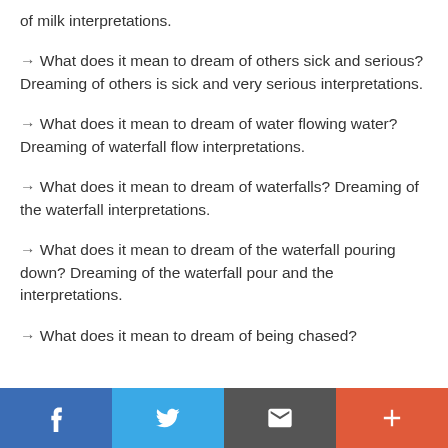of milk interpretations.
→ What does it mean to dream of others sick and serious? Dreaming of others is sick and very serious interpretations.
→ What does it mean to dream of water flowing water? Dreaming of waterfall flow interpretations.
→ What does it mean to dream of waterfalls? Dreaming of the waterfall interpretations.
→ What does it mean to dream of the waterfall pouring down? Dreaming of the waterfall pour and the interpretations.
→ What does it mean to dream of being chased?
Social share bar: Facebook, Twitter, Email, Plus